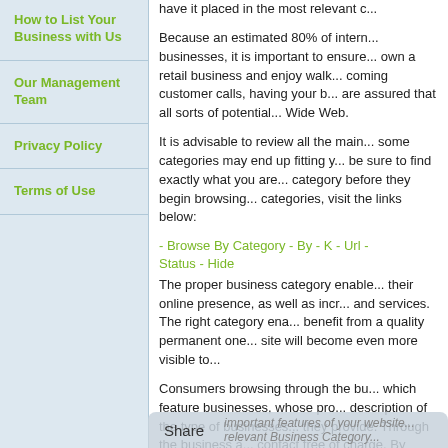How to List Your Business with Us
Our Management Team
Privacy Policy
Terms of Use
have it placed in the most relevant c...
Because an estimated 80% of intern... businesses, it is important to ensure... own a retail business and enjoy walk... coming customer calls, having your b... are assured that all sorts of potential... Wide Web.
It is advisable to review all the main... some categories may end up fitting y... be sure to find exactly what you are... category before they begin browsing... categories, visit the links below:
- Browse By Category - By - K - Url - Status - Hide
The proper business category enable... their online presence, as well as incr... and services. The right category ena... benefit from a quality permanent one... site will become even more visible to...
Consumers browsing through the bu... which feature businesses, whose pro... description of the type of businesses... they provide. Through the business a... contact free of charge. By enabling c... get to improve the quality of your we...
Proper business category listing will... in a very competitive market, thus re... important features of your website.... relevant Business Category...